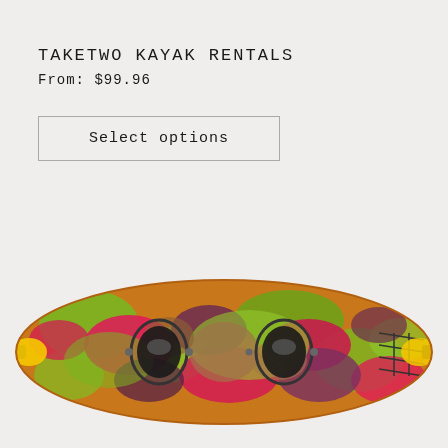TAKETWO KAYAK RENTALS
From: $99.96
Select options
[Figure (photo): Top-down view of a colorful tandem sit-on-top kayak with multicolored camouflage pattern in pink, green, yellow, red and brown tones]